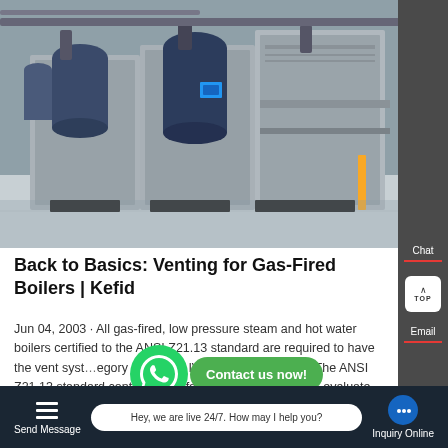[Figure (photo): Industrial gas-fired boilers in a boiler room, showing multiple large blue/grey boiler units with pipes and fittings on a white floor]
Back to Basics: Venting for Gas-Fired Boilers | Kefid
Jun 04, 2003 · All gas-fired, low pressure steam and hot water boilers certified to the ANSI Z21.13 standard are required to have the vent system category (I, II, III or IV) on the rating plate. The ANSI Z21.13 standard contains a uniform test procedure us... evaluate the vent...